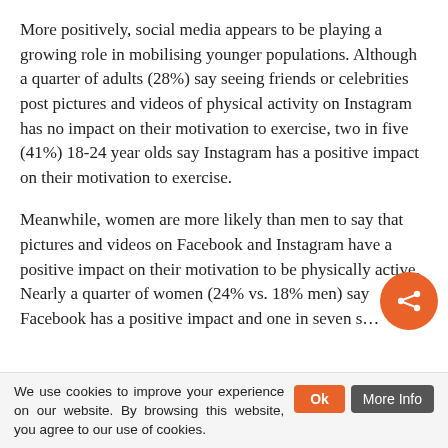More positively, social media appears to be playing a growing role in mobilising younger populations. Although a quarter of adults (28%) say seeing friends or celebrities post pictures and videos of physical activity on Instagram has no impact on their motivation to exercise, two in five (41%) 18-24 year olds say Instagram has a positive impact on their motivation to exercise.
Meanwhile, women are more likely than men to say that pictures and videos on Facebook and Instagram have a positive impact on their motivation to be physically active. Nearly a quarter of women (24% vs. 18% men) say Facebook has a positive impact and one in seven s…
We use cookies to improve your experience on our website. By browsing this website, you agree to our use of cookies.